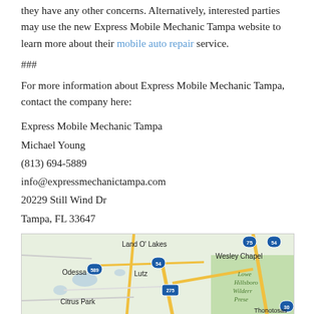they have any other concerns. Alternatively, interested parties may use the new Express Mobile Mechanic Tampa website to learn more about their mobile auto repair service.
###
For more information about Express Mobile Mechanic Tampa, contact the company here:
Express Mobile Mechanic Tampa
Michael Young
(813) 694-5889
info@expressmechanictampa.com
20229 Still Wind Dr
Tampa, FL 33647
[Figure (map): Google Maps screenshot showing the Tampa, FL area including Land O' Lakes, Wesley Chapel, Odessa, Lutz, Citrus Park, Thonotosassa, and highway markers 75, 589, 54, 275, 301.]